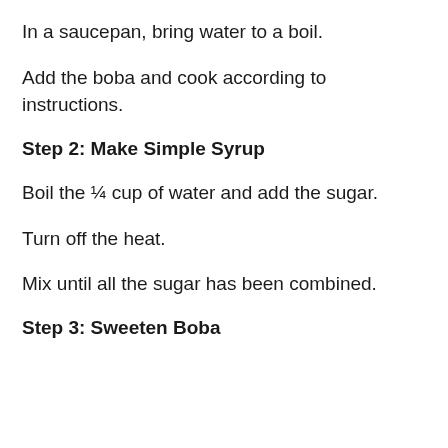In a saucepan, bring water to a boil.
Add the boba and cook according to instructions.
Step 2: Make Simple Syrup
Boil the ¼ cup of water and add the sugar.
Turn off the heat.
Mix until all the sugar has been combined.
Step 3: Sweeten Boba